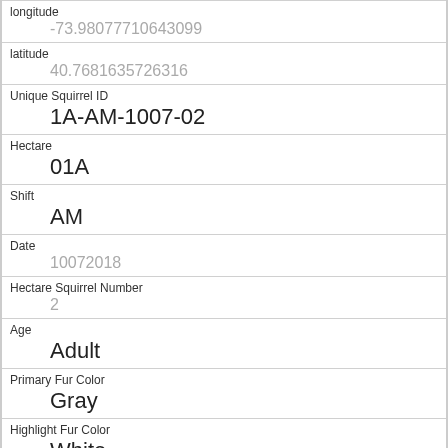| Field | Value |
| --- | --- |
| longitude | -73.98077710643099 |
| latitude | 40.7681635726316 |
| Unique Squirrel ID | 1A-AM-1007-02 |
| Hectare | 01A |
| Shift | AM |
| Date | 10072018 |
| Hectare Squirrel Number | 2 |
| Age | Adult |
| Primary Fur Color | Gray |
| Highlight Fur Color | White |
| Combination of Primary and Highlight Color | Gray+White |